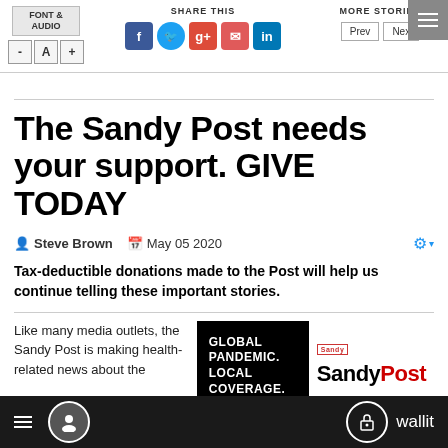FONT & AUDIO | SHARE THIS | MORE STORIES
The Sandy Post needs your support. GIVE TODAY
Steve Brown  May 05 2020
Tax-deductible donations made to the Post will help us continue telling these important stories.
Like many media outlets, the Sandy Post is making health-related news about the
[Figure (logo): Global Pandemic. Local Coverage. Sandy Post logo with red tag]
wallit